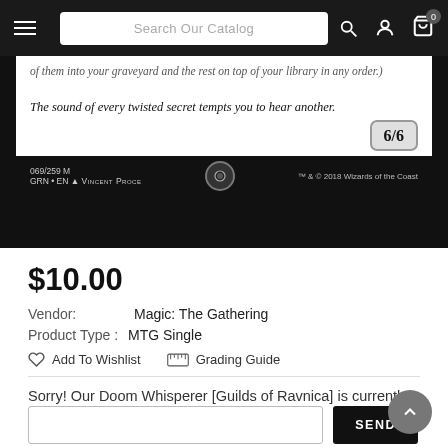Search Our Catalog
[Figure (photo): Bottom portion of a Magic: The Gathering card - Doom Whisperer from Guilds of Ravnica. Shows italic card text: 'of them into your graveyard and the rest on top of your library in any order.) The sound of every twisted secret tempts you to hear another.' Power/toughness 6/6. Card number 069/259 M, GRN EN, art by Vincent Proce, TM & © 2018 Wizards of the Coast.]
$10.00
Vendor:   Magic: The Gathering
Product Type :   MTG Single
Add To Wishlist   Grading Guide
Sorry! Our Doom Whisperer [Guilds of Ravnica] is currently sold out.
SEND